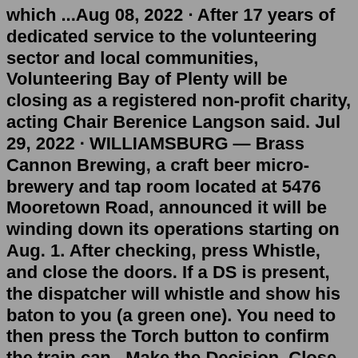which ...Aug 08, 2022 · After 17 years of dedicated service to the volunteering sector and local communities, Volunteering Bay of Plenty will be closing as a registered non-profit charity, acting Chair Berenice Langson said. Jul 29, 2022 · WILLIAMSBURG — Brass Cannon Brewing, a craft beer micro-brewery and tap room located at 5476 Mooretown Road, announced it will be winding down its operations starting on Aug. 1. After checking, press Whistle, and close the doors. If a DS is present, the dispatcher will whistle and show his baton to you (a green one). You need to then press the Torch button to confirm the train can...Make the Decision. Close the Door. Lock the Door - Part 1. Lock the Door - Part Two. Throw Away the Key. Letting Go and Moving On. Ending an affair requires more than a decision. If there is another person involved, the bridge to that relationship absolutely needs to be burned. I remember when my oldest child began speaking.Aug 16, 2022 · The museum will keep a presence online, but financial difficulties mean the closure of the...